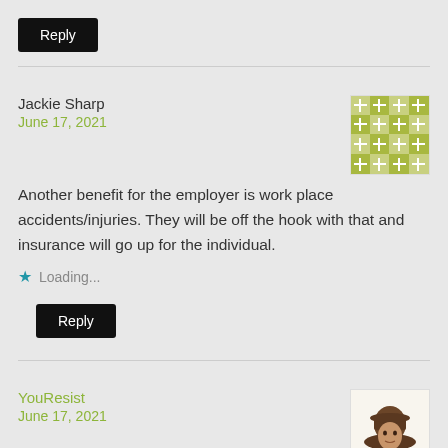Reply
Jackie Sharp
June 17, 2021
Another benefit for the employer is work place accidents/injuries. They will be off the hook with that and insurance will go up for the individual.
Loading...
Reply
YouResist
June 17, 2021
Home Alone – Then never seen again!
For those that want to Stop. This follow simple...